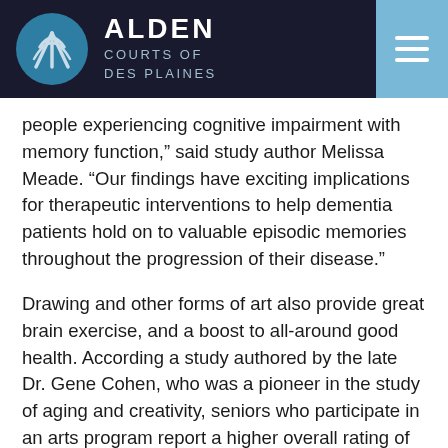ALDEN COURTS OF DES PLAINES
people experiencing cognitive impairment with memory function,” said study author Melissa Meade. “Our findings have exciting implications for therapeutic interventions to help dementia patients hold on to valuable episodic memories throughout the progression of their disease.”
Drawing and other forms of art also provide great brain exercise, and a boost to all-around good health. According a study authored by the late Dr. Gene Cohen, who was a pioneer in the study of aging and creativity, seniors who participate in an arts program report a higher overall rating of physical health, fewer doctor visits, less medication use, a reduction in falls, and fewer other health problems.